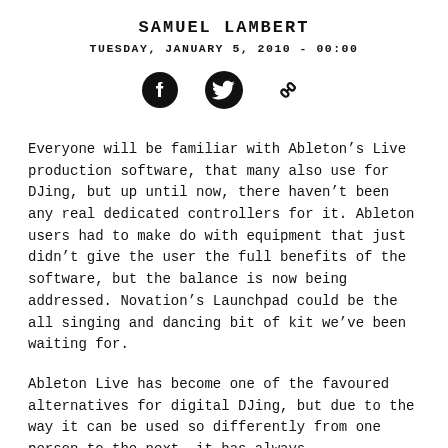SAMUEL LAMBERT
TUESDAY, JANUARY 5, 2010 - 00:00
[Figure (other): Three social media icons: Facebook, Twitter, and a link/chain icon]
Everyone will be familiar with Ableton's Live production software, that many also use for DJing, but up until now, there haven't been any real dedicated controllers for it. Ableton users had to make do with equipment that just didn't give the user the full benefits of the software, but the balance is now being addressed. Novation's Launchpad could be the all singing and dancing bit of kit we've been waiting for.
Ableton Live has become one of the favoured alternatives for digital DJing, but due to the way it can be used so differently from one person to the next, it has always